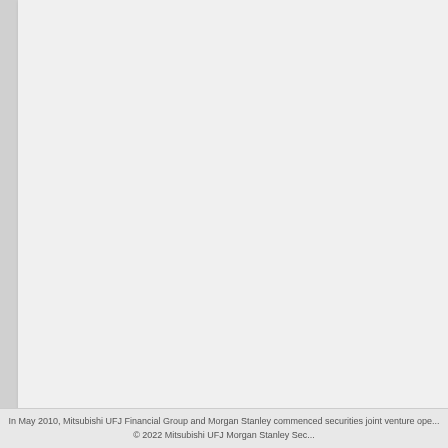Refinitiv DealWatch Awards
Offshore Bond House of the Year
Innovative Debt Deal of the Year
Offshore Bond of the Year
Cross-border Yen Bond of the Year
Equity Deal of the Year
IPO of the Year
Equity-linked Product of the Year
Innovative Equity Deal of the Year
In May 2010, Mitsubishi UFJ Financial Group and Morgan Stanley commenced securities joint venture operations.
© 2022 Mitsubishi UFJ Morgan Stanley Securities Co., Ltd.